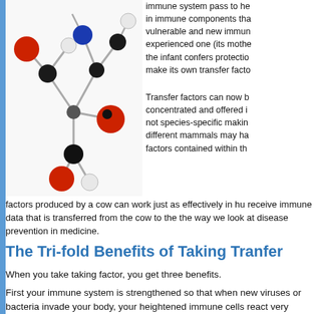[Figure (illustration): 3D molecular model with colored spheres (red, black, blue, white) connected by sticks, representing an amino acid or similar molecule]
immune system pass to he in immune components tha vulnerable and new immun experienced one (its mothe the infant confers protectio make its own transfer facto
Transfer factors can now b concentrated and offered i not species-specific makin different mammals may ha factors contained within th factors produced by a cow can work just as effectively in hu receive immune data that is transferred from the cow to the the way we look at disease prevention in medicine.
The Tri-fold Benefits of Taking Tranfer
When you take taking factor, you get three benefits.
First your immune system is strengthened so that when new viruses or bacteria invade your body, your heightened immune cells react very rapidly. By so doing, they prevent the foreign organism from getting a too hold; consequently